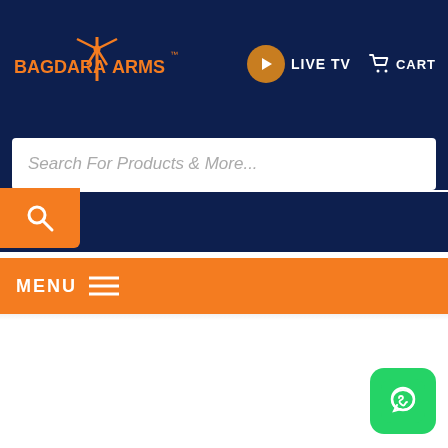[Figure (logo): Bagdara Farms logo with orange text and farm/windmill icon]
[Figure (other): Live TV button with play icon circle]
[Figure (other): Shopping cart icon with CART text]
Search For Products & More...
[Figure (other): Orange search button with magnifying glass icon]
MENU ≡
[Figure (other): WhatsApp green button icon in bottom right corner]